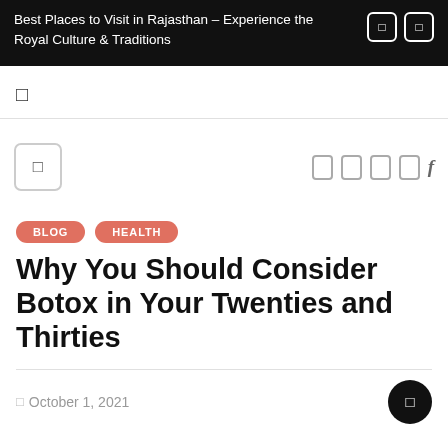Best Places to Visit in Rajasthan – Experience the Royal Culture & Traditions
☰
[Figure (logo): Logo/menu box icon on left, social share icons on right (four rectangles and an italic f)]
BLOG
HEALTH
Why You Should Consider Botox in Your Twenties and Thirties
October 1, 2021